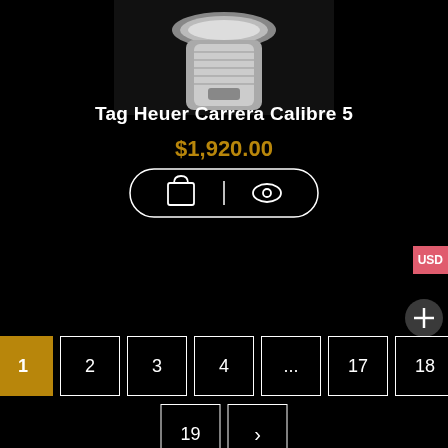[Figure (photo): Partial top view of a Tag Heuer Carrera watch with white/silver strap on black background]
Tag Heuer Carrera Calibre 5
$1,920.00
[Figure (infographic): Pill-shaped button with shopping bag icon and eye/view icon separated by a vertical divider]
USD
[Figure (infographic): Dark circular button with + symbol]
1  2  3  4  ...  17  18  19  >